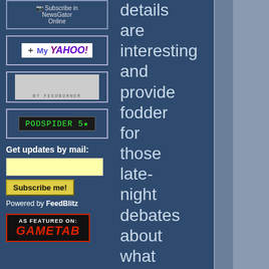[Figure (logo): Subscribe in NewsGator Online button/badge]
[Figure (logo): Add to My Yahoo! badge]
[Figure (logo): FeedBurner badge]
[Figure (logo): PodSpider 5-star badge]
Get updates by mail:
Subscribe me!
Powered by FeedBlitz
[Figure (logo): As Featured On: GameTab badge]
details are interesting and provide fodder for those late-night debates about what system will be number one by what month and and whose momma could whoop who at